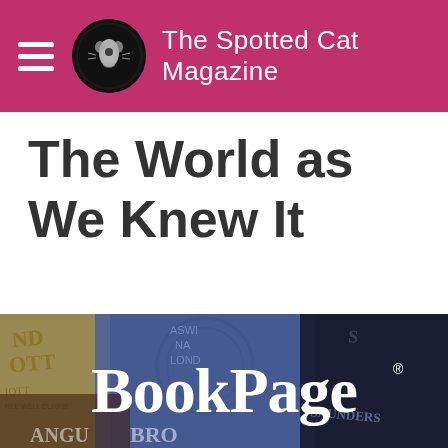The Spotted Cat Magazine
The World as We Knew It
[Figure (logo): BookPage magazine logo banner overlaid on a collage of book covers including titles by various authors. The BookPage logo appears in large white bold serif text with a registered trademark symbol.]